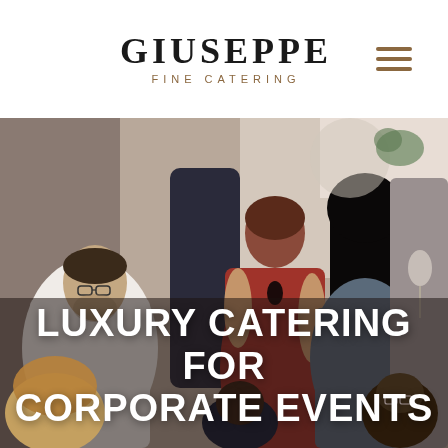GIUSEPPE FINE CATERING
[Figure (photo): A group of people at a corporate/social event, mingling and socializing. A man in a white shirt and glasses speaks with others; a woman in a red dress is prominent in the center; a woman with long dark hair is seen from behind; other guests hold wine glasses in the background.]
LUXURY CATERING FOR CORPORATE EVENTS